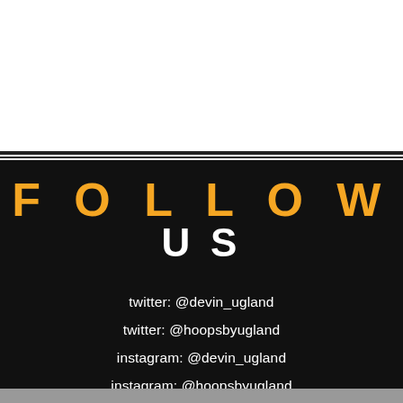[Figure (infographic): Black panel with 'FOLLOW US' in large bold text (FOLLOW in gold/orange, US in white), a white horizontal bar, and social media handles listed in white text: twitter @devin_ugland, twitter @hoopsbyugland, instagram @devin_ugland, instagram @hoopsbyugland]